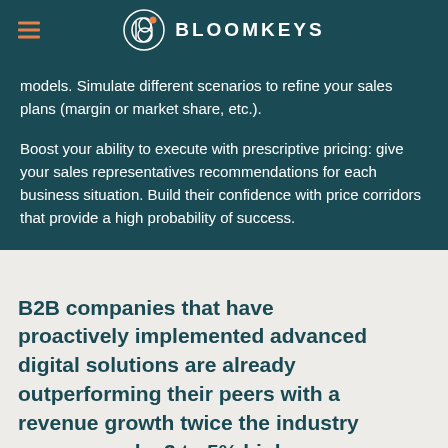BLOOMKEYS
models. Simulate different scenarios to refine your sales plans (margin or market share, etc.).
Boost your ability to execute with prescriptive pricing: give your sales representatives recommendations for each business situation. Build their confidence with price corridors that provide a high probability of success.
B2B companies that have proactively implemented advanced digital solutions are already outperforming their peers with a revenue growth twice the industry average and a 3 to 5% higher profitability.